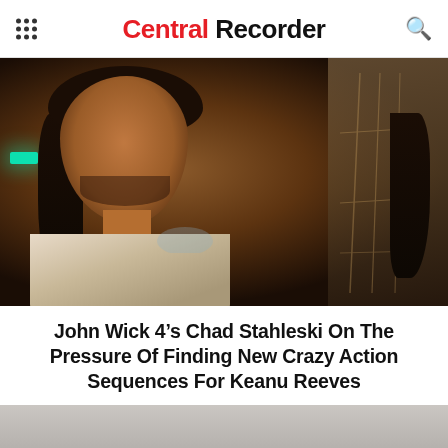Central Recorder
[Figure (photo): Movie still from John Wick 4 showing Keanu Reeves as John Wick in a white t-shirt, long dark hair, with a beard, looking to the side in a dimly lit scene with teal/green lighting on the left and brown/wood tones in the background]
John Wick 4’s Chad Stahleski On The Pressure Of Finding New Crazy Action Sequences For Keanu Reeves
[Figure (photo): Partial bottom image, appears to be another scene or photo, mostly grey/muted tones, partially cut off]